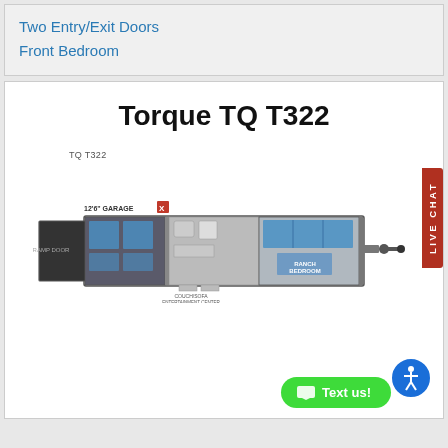Two Entry/Exit Doors
Front Bedroom
Torque TQ T322
[Figure (engineering-diagram): Floor plan diagram of the Torque TQ T322 RV/trailer. Shows a side-view layout with a 12'6" garage section on the left, living/kitchen area in the middle, bathroom, and front bedroom with blue bunk beds on the right. A slide-out is shown on the left rear. Label 'TQ T322' appears above the diagram.]